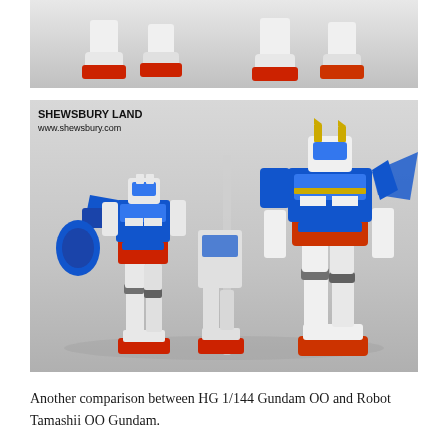[Figure (photo): Top portion of Gundam model figures showing their feet/bases with red stand pieces against a light gray background.]
[Figure (photo): Photo comparing HG 1/144 Gundam OO and Robot Tamashii OO Gundam figures standing side by side. Watermark reads SHEWSBURY LAND www.shewsbury.com. Both figures are blue and white with red accents. The Robot Tamashii figure on the right is noticeably larger.]
Another comparison between HG 1/144 Gundam OO and Robot Tamashii OO Gundam.